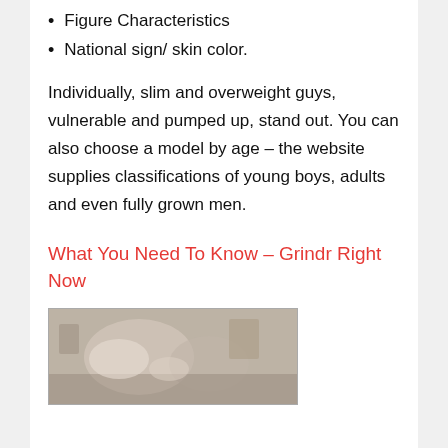Figure Characteristics
National sign/ skin color.
Individually, slim and overweight guys, vulnerable and pumped up, stand out. You can also choose a model by age – the website supplies classifications of young boys, adults and even fully grown men.
What You Need To Know – Grindr Right Now
[Figure (photo): A photo showing a person in a bedroom setting]